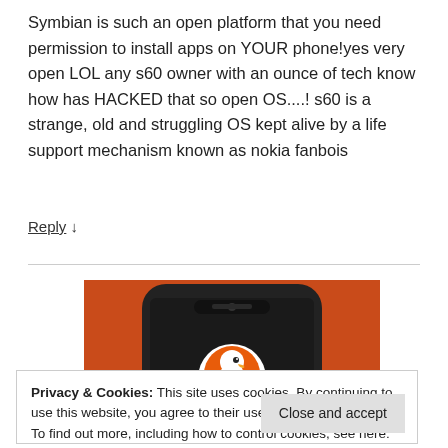Symbian is such an open platform that you need permission to install apps on YOUR phone!yes very open LOL any s60 owner with an ounce of tech know how has HACKED that so open OS....! s60 is a strange, old and struggling OS kept alive by a life support mechanism known as nokia fanbois
Reply ↓
[Figure (photo): Advertisement image showing a smartphone with an orange background and the DuckDuckGo duck logo on the phone screen]
Privacy & Cookies: This site uses cookies. By continuing to use this website, you agree to their use.
To find out more, including how to control cookies, see here: Cookie Policy
Close and accept